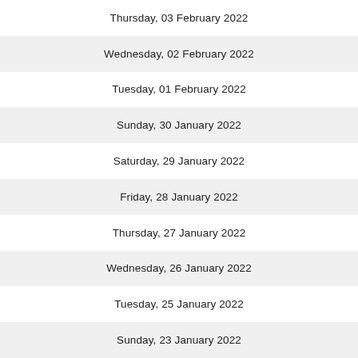Thursday, 03 February 2022
Wednesday, 02 February 2022
Tuesday, 01 February 2022
Sunday, 30 January 2022
Saturday, 29 January 2022
Friday, 28 January 2022
Thursday, 27 January 2022
Wednesday, 26 January 2022
Tuesday, 25 January 2022
Sunday, 23 January 2022